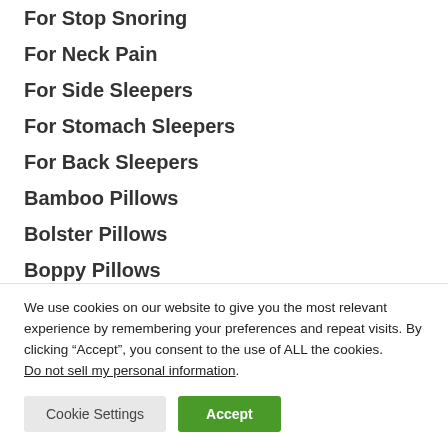For Stop Snoring
For Neck Pain
For Side Sleepers
For Stomach Sleepers
For Back Sleepers
Bamboo Pillows
Bolster Pillows
Boppy Pillows
Buckwheat Pillows
We use cookies on our website to give you the most relevant experience by remembering your preferences and repeat visits. By clicking “Accept”, you consent to the use of ALL the cookies. Do not sell my personal information.
Cookie Settings Accept